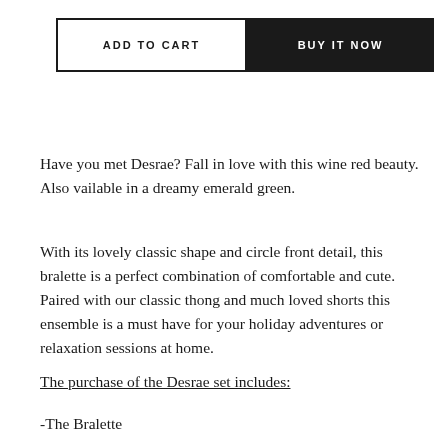[Figure (other): Two e-commerce buttons side by side: 'ADD TO CART' (white background with black border) and 'BUY IT NOW' (black background with white text)]
Have you met Desrae? Fall in love with this wine red beauty. Also vailable in a dreamy emerald green.
With its lovely classic shape and circle front detail, this bralette is a perfect combination of comfortable and cute. Paired with our classic thong and much loved shorts this ensemble is a must have for your holiday adventures or relaxation sessions at home.
The purchase of the Desrae set includes:
-The Bralette